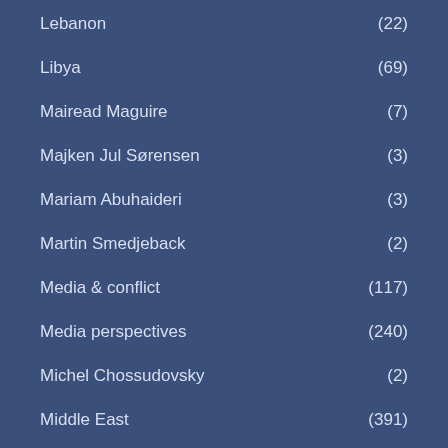Lebanon (22)
Libya (69)
Mairead Maguire (7)
Majken Jul Sørensen (3)
Mariam Abuhaideri (3)
Martin Smedjeback (2)
Media & conflict (117)
Media perspectives (240)
Michel Chossudovsky (2)
Middle East (391)